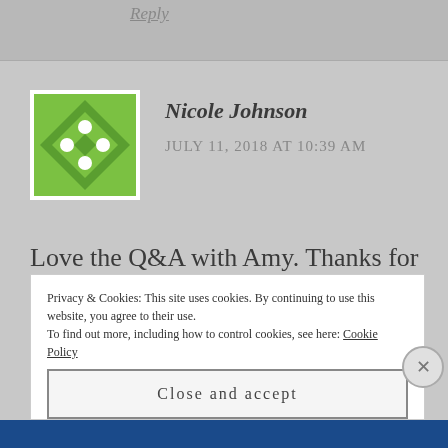Reply
[Figure (illustration): Green geometric diamond/snowflake avatar icon with white dots on green background, square with white border]
Nicole Johnson
JULY 11, 2018 AT 10:39 AM
Love the Q&A with Amy. Thanks for the giveaway!!
Privacy & Cookies: This site uses cookies. By continuing to use this website, you agree to their use.
To find out more, including how to control cookies, see here: Cookie Policy
Close and accept